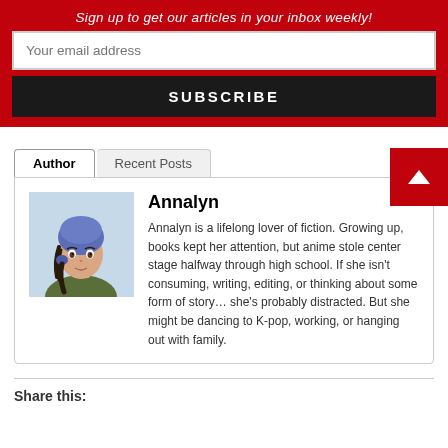Sign up to get our articles in your inbox weekly!
Your email address
SUBSCRIBE
[Figure (illustration): Back to top button with upward triangle arrow on red background]
Author | Recent Posts
[Figure (illustration): Anime-style portrait of Annalyn, a young woman with blue/purple head scarf and dark hair, olive jacket]
Annalyn
Annalyn is a lifelong lover of fiction. Growing up, books kept her attention, but anime stole center stage halfway through high school. If she isn't consuming, writing, editing, or thinking about some form of story… she's probably distracted. But she might be dancing to K-pop, working, or hanging out with family.
Share this: